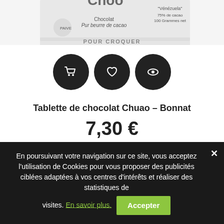[Figure (photo): Partial view of a Chuao chocolate bar by Bonnat — shows the top of the wrapper with text 'Chocolat Pur beurre de cacao', 'Vénézuela', '75% de cacao', '100 Grammes net', and partially visible 'POUR CROQUER']
[Figure (infographic): Three dark circular icon buttons: a shopping cart icon, a heart/wishlist icon, and an eye/view icon]
Tablette de chocolat Chuao – Bonnat
7,30 €
En poursuivant votre navigation sur ce site, vous acceptez l'utilisation de Cookies pour vous proposer des publicités ciblées adaptées à vos centres d'intérêts et réaliser des statistiques de visites. En savoir plus. Accepter